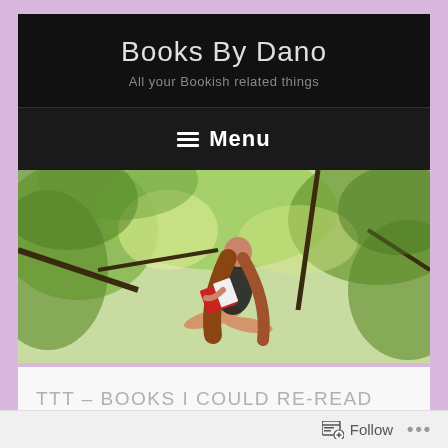Books By Dano
All your Bookish related things
≡ Menu
[Figure (photo): A young woman with long red-brown hair sitting in a tree reading a book with a red cover, surrounded by green leafy trees.]
TTT – BOOKS I COULD RE-READ FOREVER!!
Follow